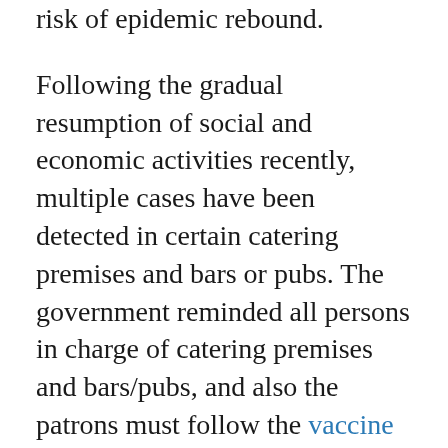risk of epidemic rebound.
Following the gradual resumption of social and economic activities recently, multiple cases have been detected in certain catering premises and bars or pubs. The government reminded all persons in charge of catering premises and bars/pubs, and also the patrons must follow the vaccine pass requirement.
The Government also urged citizens aged 60 or above to receive the fourth dose of vaccine in a timely manner, as the antibody level in human body would drop after a period of time from vaccination or infection. "Other citizens should also take the opportunity to receive a full